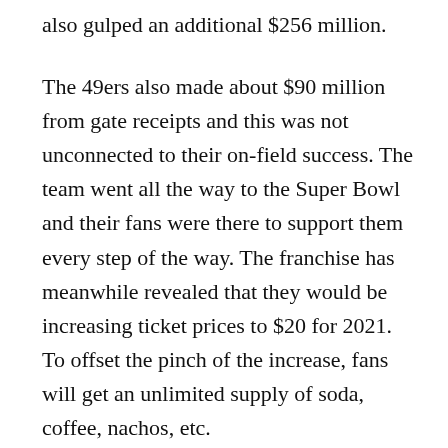also gulped an additional $256 million.
The 49ers also made about $90 million from gate receipts and this was not unconnected to their on-field success. The team went all the way to the Super Bowl and their fans were there to support them every step of the way. The franchise has meanwhile revealed that they would be increasing ticket prices to $20 for 2021. To offset the pinch of the increase, fans will get an unlimited supply of soda, coffee, nachos, etc.
11. Los Angeles Rams – $3.8 Billion
League – NFL
Owner – E. Stanley Kroenke